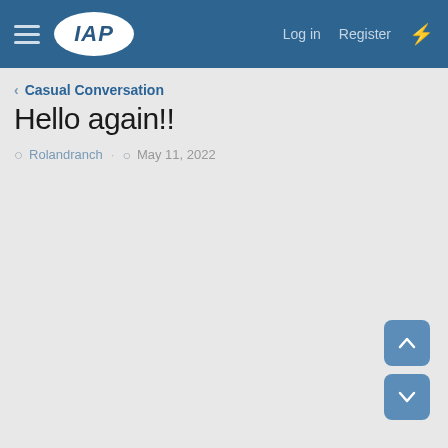IAP — Log in  Register
< Casual Conversation
Hello again!!
Rolandranch · May 11, 2022